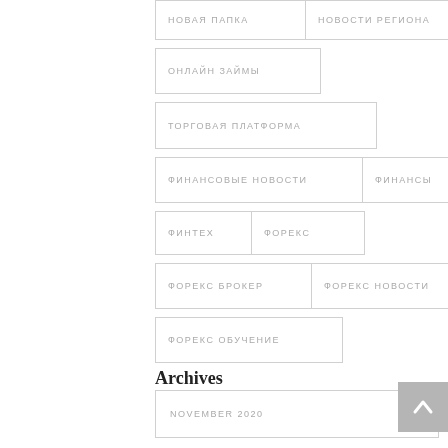НОВАЯ ПАПКА
НОВОСТИ РЕГИОНА
ОНЛАЙН ЗАЙМЫ
ТОРГОВАЯ ПЛАТФОРМА
ФИНАНСОВЫЕ НОВОСТИ
ФИНАНСЫ
ФИНТЕХ
ФОРЕКС
ФОРЕКС БРОКЕР
ФОРЕКС НОВОСТИ
ФОРЕКС ОБУЧЕНИЕ
Archives
NOVEMBER 2020   80